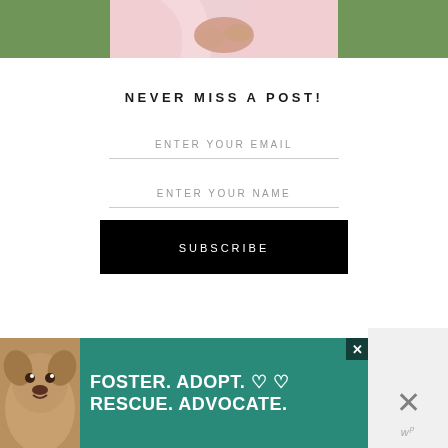[Figure (photo): Partial photo of a person in a pink dress with hands clasped, with greenery in background — cropped at top of page]
NEVER MISS A POST!
ENTER YOUR EMAIL
ENTER YOUR NAME
SUBSCRIBE
[Figure (photo): Advertisement banner with green background showing a dog (pit bull), text reading FOSTER. ADOPT. RESCUE. ADVOCATE. with heart icons, a close button, and a W+ logo in the bottom right corner]